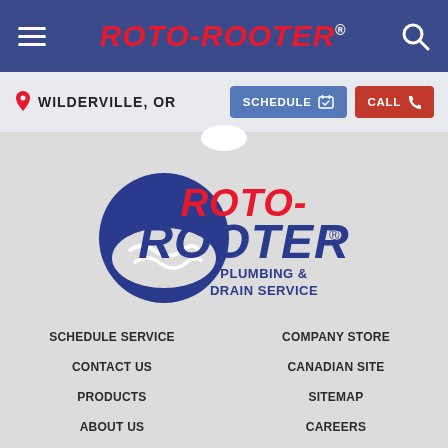ROTO-ROOTER
WILDERVILLE, OR
SCHEDULE  CALL
[Figure (logo): Roto-Rooter Plumbing & Drain Service logo — red italic ROTO- text, blue italic ROOTER text, dark blue circular wave/drain graphic on left, text PLUMBING & DRAIN SERVICE in dark blue below]
SCHEDULE SERVICE
CONTACT US
PRODUCTS
ABOUT US
COMPANY STORE
CANADIAN SITE
SITEMAP
CAREERS